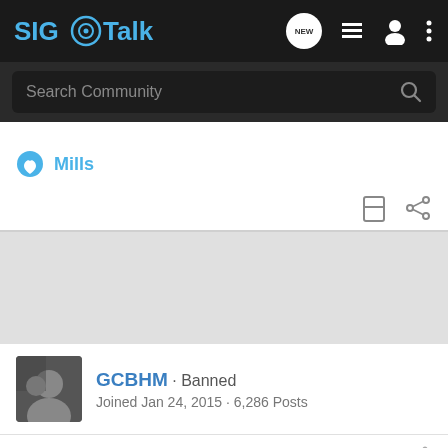SIG Talk
Search Community
Mills
GCBHM · Banned
Joined Jan 24, 2015 · 6,286 Posts
#5 · Mar 25, 2017
That's a... take
[Figure (screenshot): Springfield Armory SAINT advertisement banner: rifle image with text 'MSRP STARTING AT $943.00 LEARN MORE']